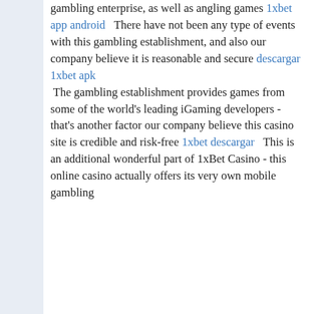gambling enterprise, as well as angling games 1xbet app android   There have not been any type of events with this gambling establishment, and also our company believe it is reasonable and secure descargar 1xbet apk  The gambling establishment provides games from some of the world's leading iGaming developers - that's another factor our company believe this casino site is credible and risk-free 1xbet descargar   This is an additional wonderful part of 1xBet Casino - this online casino actually offers its very own mobile gambling